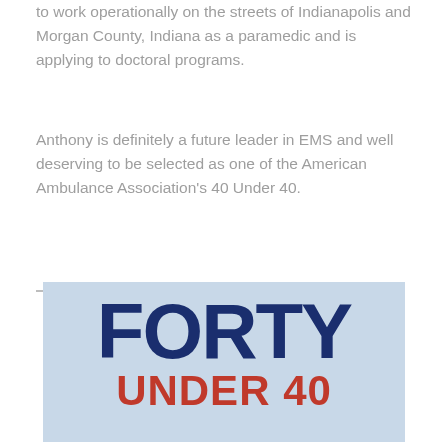to work operationally on the streets of Indianapolis and Morgan County, Indiana as a paramedic and is applying to doctoral programs.
Anthony is definitely a future leader in EMS and well deserving to be selected as one of the American Ambulance Association's 40 Under 40.
View all of the 2020 Mobile Healthcare 40 Under 40 Honorees
[Figure (photo): Partial image showing bold text 'FORT' in dark navy blue and 'UNDER 4' in red on a light blue background, representing the 40 Under 40 honorees graphic.]